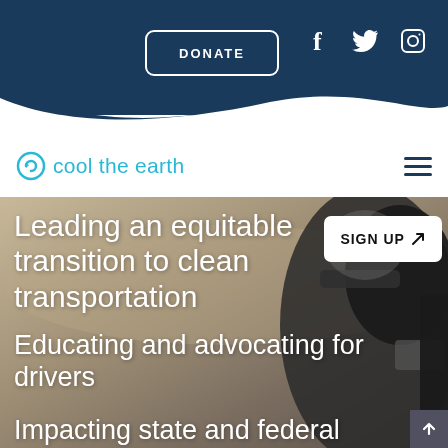DONATE | Facebook | Twitter | Instagram
[Figure (logo): Cool the Earth logo with circular 'c' icon in cyan and text 'cool the earth' in cyan, with hamburger menu icon on right]
Leading an equitable transition to clean transportation
SIGN UP ↗
Educating and advocating for drivers
Impacting state and federal